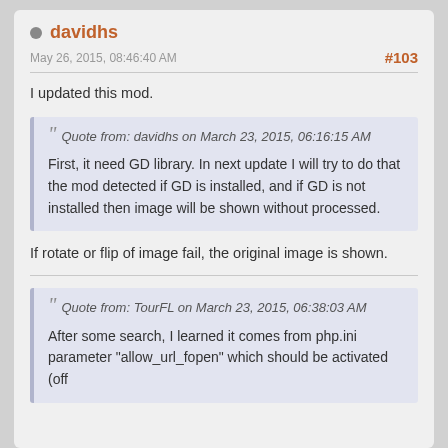davidhs
May 26, 2015, 08:46:40 AM
#103
I updated this mod.
Quote from: davidhs on March 23, 2015, 06:16:15 AM

First, it need GD library. In next update I will try to do that the mod detected if GD is installed, and if GD is not installed then image will be shown without processed.
If rotate or flip of image fail, the original image is shown.
Quote from: TourFL on March 23, 2015, 06:38:03 AM

After some search, I learned it comes from php.ini parameter "allow_url_fopen" which should be activated (off by default in some servers). So this is not a bug of the mod.